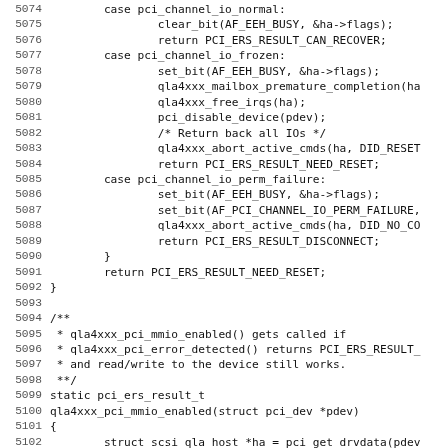Code listing lines 5074-5106, C source code for PCI error recovery functions including qla4xxx_pci_mmio_enabled